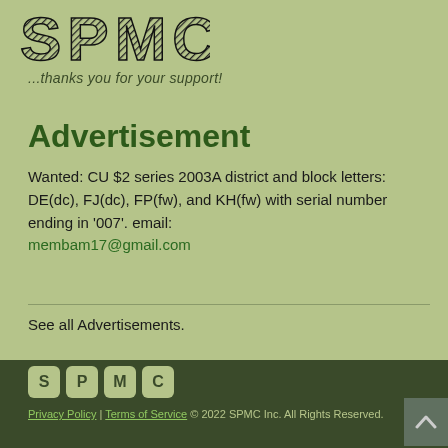[Figure (logo): SPMC logo with bold hatched lettering]
...thanks you for your support!
Advertisement
Wanted:  CU $2 series 2003A district and block letters:  DE(dc), FJ(dc), FP(fw), and KH(fw) with serial number ending in '007'.  email: membam17@gmail.com
See all Advertisements.
SPMC  Privacy Policy | Terms of Service © 2022 SPMC Inc. All Rights Reserved.